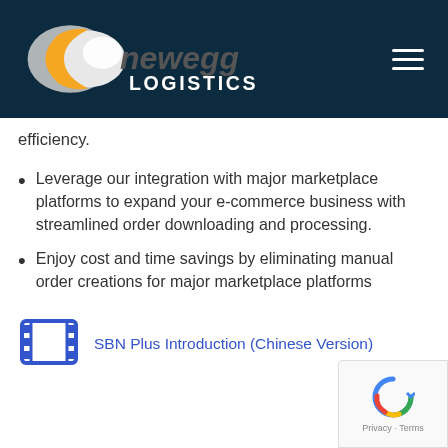Newegg LOGISTICS
efficiency.
Leverage our integration with major marketplace platforms to expand your e-commerce business with streamlined order downloading and processing.
Enjoy cost and time savings by eliminating manual order creations for major marketplace platforms
[Figure (other): Film/video icon (blue film reel strip icon) next to a link label]
SBN Plus Introduction (Chinese Version)